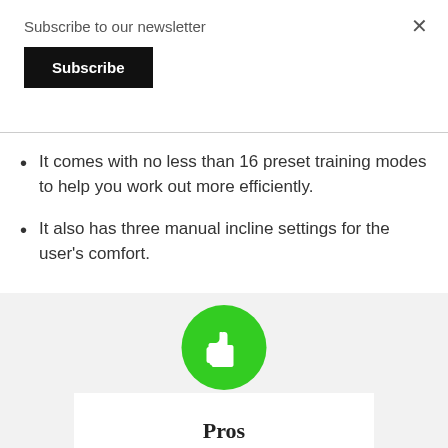Subscribe to our newsletter
Subscribe
It comes with no less than 16 preset training modes to help you work out more efficiently.
It also has three manual incline settings for the user's comfort.
[Figure (illustration): Green circle with white thumbs-up icon above a white card, with 'Pros' label at the bottom, on a light grey background.]